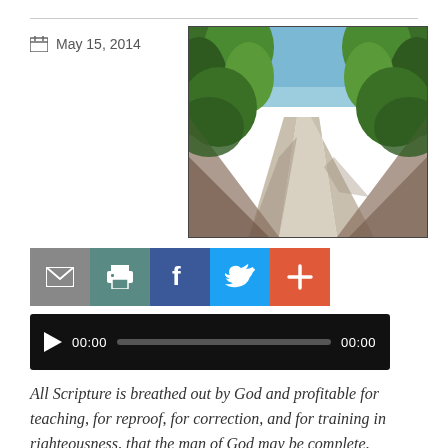May 15, 2014
[Figure (photo): A sandy dirt path flanked by green bushes and trees, stretching into the distance under a blue sky.]
[Figure (infographic): Social sharing buttons: email (grey), print (teal), Facebook (blue), Twitter (light blue), plus/add (orange-red)]
[Figure (infographic): Audio player bar showing 00:00 current time and 00:00 total duration with a progress bar.]
All Scripture is breathed out by God and profitable for teaching, for reproof, for correction, and for training in righteousness, that the man of God may be complete,